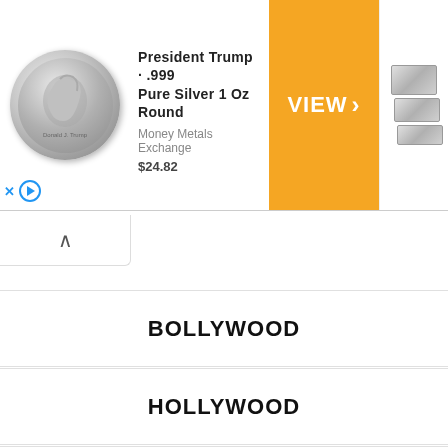[Figure (screenshot): Advertisement banner for President Trump .999 Pure Silver 1 Oz Round from Money Metals Exchange priced at $24.82, with an orange VIEW button and silver bar images on the right]
BOLLYWOOD
HOLLYWOOD
TELUGU
TAMIL